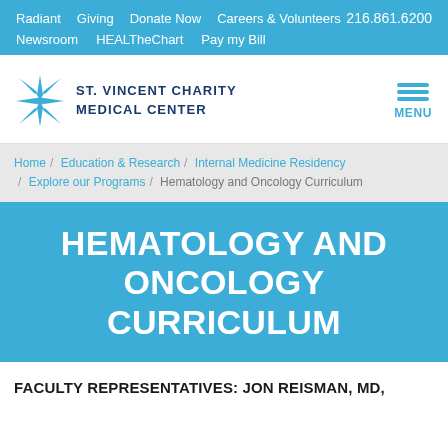Radiant  Giving  Donate Now  Careers & Volunteers  216.861.6200  Newsroom  HEALTheChart  Pay my Bill
[Figure (logo): St. Vincent Charity Medical Center logo with star emblem and MENU icon]
Home / Education & Research / Internal Medicine Residency / Explore our Programs / Hematology and Oncology Curriculum
HEMATOLOGY AND ONCOLOGY CURRICULUM
FACULTY REPRESENTATIVES: JON REISMAN, MD,